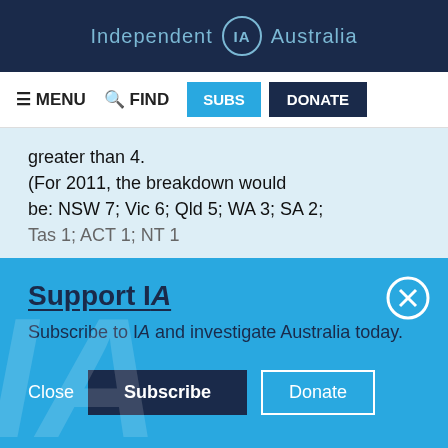Independent IA Australia
[Figure (screenshot): Navigation bar with MENU, FIND, SUBS, DONATE buttons]
greater than 4.
(For 2011, the breakdown would be: NSW 7; Vic 6; Qld 5; WA 3; SA 2; Tas 1; ACT 1; NT 1
Support IA
Subscribe to IA and investigate Australia today.
Close   Subscribe   Donate
Twitter  Facebook  LinkedIn  Flipboard  Link  Plus